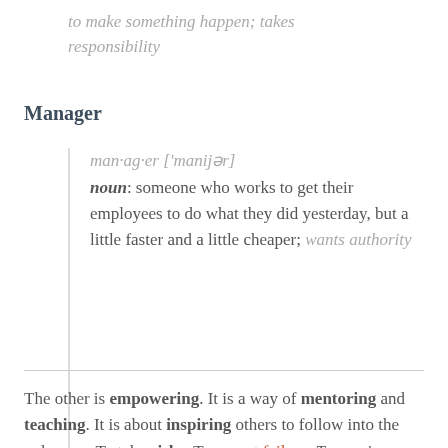to make something happen; takes responsibility
Manager
man·ag·er ['manijər] noun: someone who works to get their employees to do what they did yesterday, but a little faster and a little cheaper; wants authority
The other is empowering. It is a way of mentoring and teaching. It is about inspiring others to follow into the unknown. To take risks. To accept failure. To require failure.